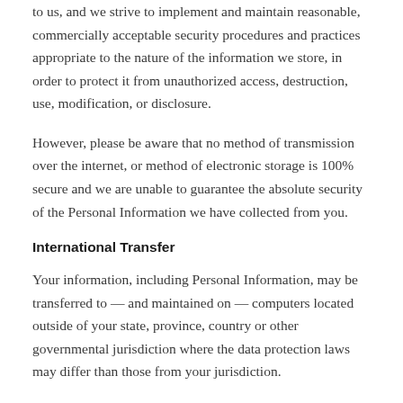to us, and we strive to implement and maintain reasonable, commercially acceptable security procedures and practices appropriate to the nature of the information we store, in order to protect it from unauthorized access, destruction, use, modification, or disclosure.
However, please be aware that no method of transmission over the internet, or method of electronic storage is 100% secure and we are unable to guarantee the absolute security of the Personal Information we have collected from you.
International Transfer
Your information, including Personal Information, may be transferred to — and maintained on — computers located outside of your state, province, country or other governmental jurisdiction where the data protection laws may differ than those from your jurisdiction.